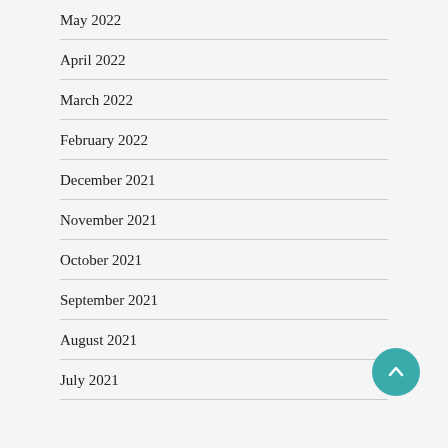May 2022
April 2022
March 2022
February 2022
December 2021
November 2021
October 2021
September 2021
August 2021
July 2021